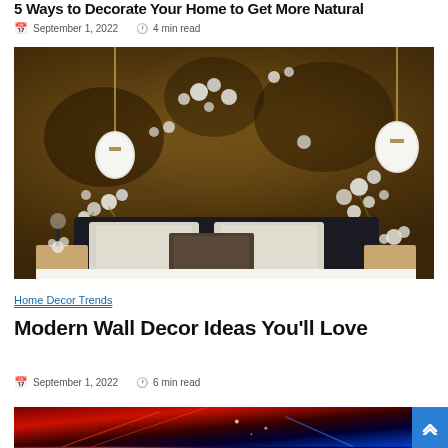5 Ways to Decorate Your Home to Get More Natural
September 1, 2022   4 min read
[Figure (photo): Elegant bedroom with dark floral mural wallpaper in brown/gold tones, white pendant lights, dark headboard, white and beige pillows, white bedding, and wooden nightstands with floral arrangements]
Home Decor Trends
Modern Wall Decor Ideas You'll Love
September 1, 2022   6 min read
[Figure (photo): Dark image with red and blue tones, appears to be an abstract or night scene]